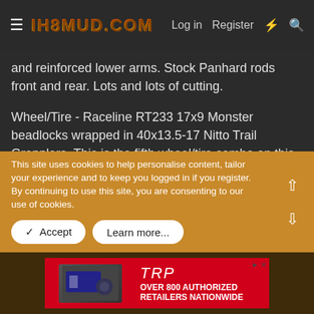IH8MUD.COM — Log in  Register
and reinforced lower arms. Stock Panhard rods front and rear. Lots and lots of cutting.
Wheel/Tire - Raceline RT233 17x9 Monster beadlocks wrapped in 40x13.5-17 Nitto Trail Grapplers. This is the fifth wheel/tire combo on this thing since i bought it, and the longest lived at 4+ years since installation.
Armor - Original Slee front bumper, modified to house an HS9500 Warn winch, significantly cut to clear tires, and
This site uses cookies to help personalise content, tailor your experience and to keep you logged in if you register.
By continuing to use this site, you are consenting to our use of cookies.
[Figure (screenshot): Advertisement banner: TRP parts, OVER 800 AUTHORIZED RETAILERS NATIONWIDE]